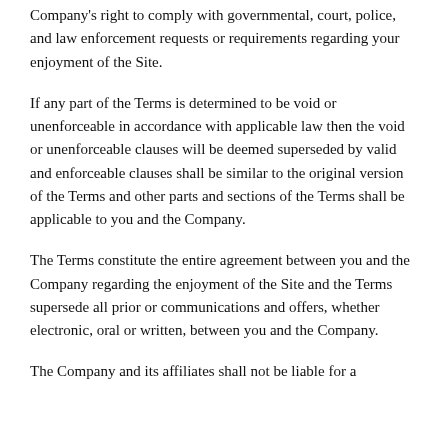Company's right to comply with governmental, court, police, and law enforcement requests or requirements regarding your enjoyment of the Site.
If any part of the Terms is determined to be void or unenforceable in accordance with applicable law then the void or unenforceable clauses will be deemed superseded by valid and enforceable clauses shall be similar to the original version of the Terms and other parts and sections of the Terms shall be applicable to you and the Company.
The Terms constitute the entire agreement between you and the Company regarding the enjoyment of the Site and the Terms supersede all prior or communications and offers, whether electronic, oral or written, between you and the Company.
The Company and its affiliates shall not be liable for a